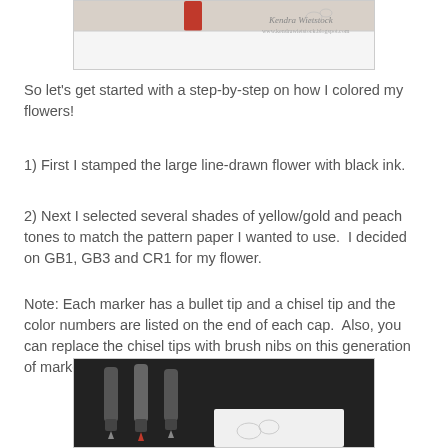[Figure (photo): Top portion of a crafting photo showing markers and decorative elements with a watermark signature 'Kendra Wietstock']
So let's get started with a step-by-step on how I colored my flowers!
1) First I stamped the large line-drawn flower with black ink.
2) Next I selected several shades of yellow/gold and peach tones to match the pattern paper I wanted to use.  I decided on GB1, GB3 and CR1 for my flower.
Note: Each marker has a bullet tip and a chisel tip and the color numbers are listed on the end of each cap.  Also, you can replace the chisel tips with brush nibs on this generation of markers.
[Figure (photo): Photo of three markers with gray caps on a dark background, showing chisel and bullet tips]